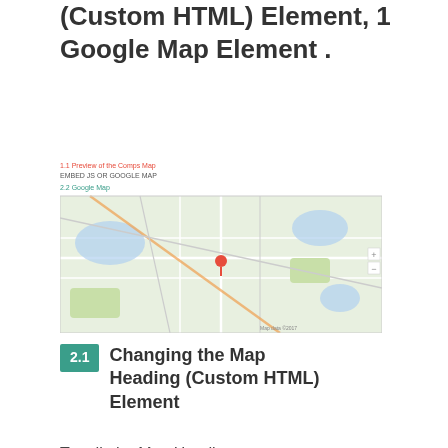(Custom HTML) Element, 1 Google Map Element .
[Figure (map): Google Map element screenshot showing a geographic map with a location pin marker in the center, with small text labels above the map including red and teal colored text.]
2.1 Changing the Map Heading (Custom HTML) Element
To edit the Map Heading (Custom HTML) Element, Click on the settings icon, then changes the content
[Figure (screenshot): Screenshot of a Custom HTML element settings panel with a dark gray background, a pink sidebar, a blue sidebar, and a form dialog with fields and a toggle switch.]